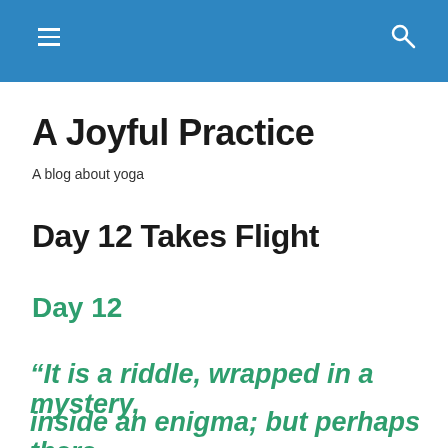A Joyful Practice [navigation bar with hamburger menu and search icon]
A Joyful Practice
A blog about yoga
Day 12 Takes Flight
Day 12
“It is a riddle, wrapped in a mystery, inside an enigma; but perhaps there